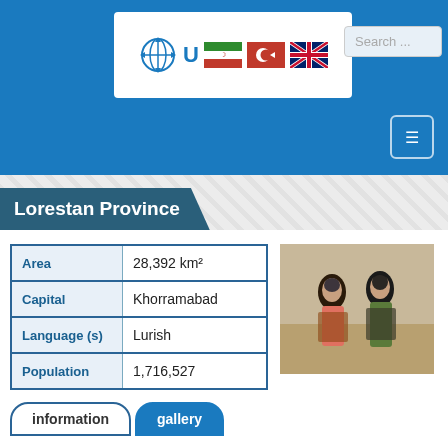[Figure (logo): Website header with globe logo, flag icons (Iran, Turkey, UK), and search box on blue background]
Lorestan Province
| Field | Value |
| --- | --- |
| Area | 28,392 km² |
| Capital | Khorramabad |
| Language (s) | Lurish |
| Population | 1,716,527 |
[Figure (photo): Two women in traditional colorful Lorestan clothing standing in a field]
information
gallery